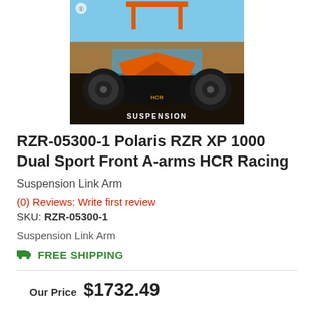[Figure (photo): Front view of a Polaris RZR XP 1000 UTV with orange frame and black body, HCR Racing suspension visible, blue sky and mountains in background. Text 'SUSPENSION' visible at bottom of image.]
RZR-05300-1 Polaris RZR XP 1000 Dual Sport Front A-arms HCR Racing
Suspension Link Arm
(0) Reviews: Write first review
SKU: RZR-05300-1
Suspension Link Arm
FREE SHIPPING
Our Price  $1732.49